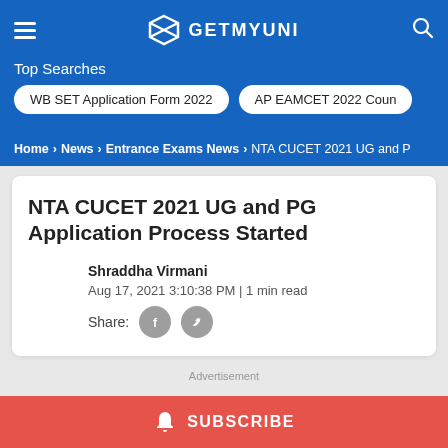GETMYUNI
Top Searches
WB SET Application Form 2022
AP EAMCET 2022 Coun
Home > News > Entrance Exams News > NTA CUCET 2021 UG and P
NTA CUCET 2021 UG and PG Application Process Started
Shraddha Virmani
Aug 17, 2021 3:10:38 PM | 1 min read
Share:
SUBSCRIBE